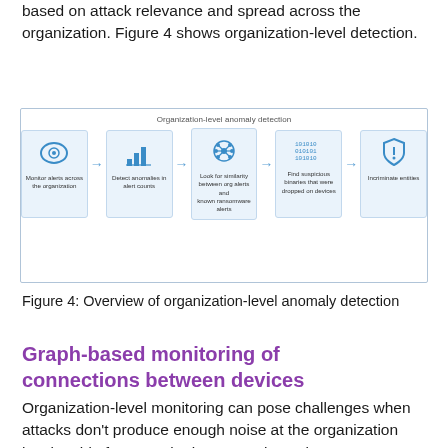based on attack relevance and spread across the organization. Figure 4 shows organization-level detection.
[Figure (flowchart): Organization-level anomaly detection flowchart with 5 steps: Monitor alerts across the organization → Detect anomalies in alert counts → Look for similarity between org alerts and known ransomware alerts → Find suspicious binaries that were dropped on devices → Incriminate entities]
Figure 4: Overview of organization-level anomaly detection
Graph-based monitoring of connections between devices
Organization-level monitoring can pose challenges when attacks don't produce enough noise at the organization level. Aside from monitoring anomalous alert counts, Defender for Endpoint also adopts a graph-based approach for a more focused view of several connected devices